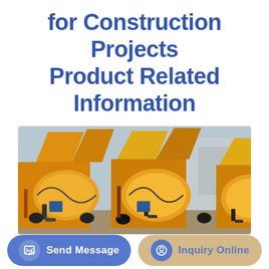for Construction Projects Product Related Information
[Figure (photo): Multiple yellow concrete mixer machines (drum mixers) parked in a row at a construction equipment facility, with industrial buildings visible in the background.]
Send Message
Inquiry Online